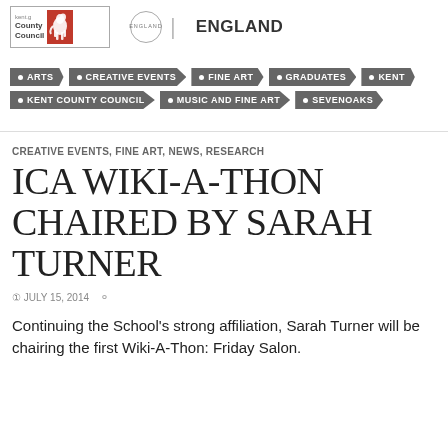[Figure (logo): Kent County Council logo with horse emblem and Arts Council England circular badge]
ARTS
CREATIVE EVENTS
FINE ART
GRADUATES
KENT
KENT COUNTY COUNCIL
MUSIC AND FINE ART
SEVENOAKS
CREATIVE EVENTS, FINE ART, NEWS, RESEARCH
ICA WIKI-A-THON CHAIRED BY SARAH TURNER
JULY 15, 2014
Continuing the School's strong affiliation, Sarah Turner will be chairing the first Wiki-A-Thon: Friday Salon.